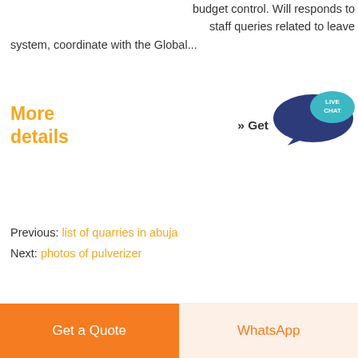budget control. Will responds to staff queries related to leave system, coordinate with the Global...
More details
[Figure (illustration): Live chat speech bubble icon — dark blue large bubble with a teal smaller bubble containing the text LIVE CHAT in white]
» Get
Previous: list of quarries in abuja
Next: photos of pulverizer
Get a Quote
WhatsApp